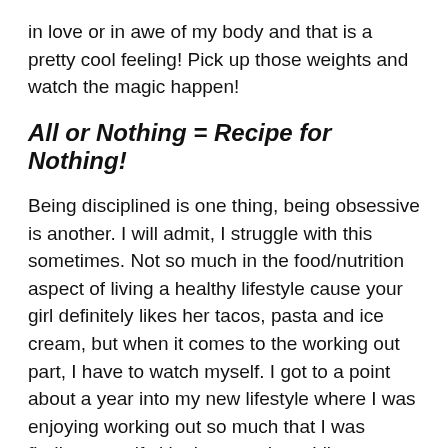in love or in awe of my body and that is a pretty cool feeling!  Pick up those weights and watch the magic happen!
All or Nothing = Recipe for Nothing!
Being disciplined is one thing, being obsessive is another. I will admit, I struggle with this sometimes.  Not so much in the food/nutrition aspect of living a healthy lifestyle cause your girl definitely likes her tacos, pasta and ice cream, but when it comes to the working out part, I have to watch myself.  I got to a point about a year into my new lifestyle where I was enjoying working out so much that I was finding myself skipping rest days.  Like skipping them weeks on end and getting dangerously close to overtraining and risking serious injury. Luckily, I realized the error of my ways in time, mostly because my body was screaming at me to stop,